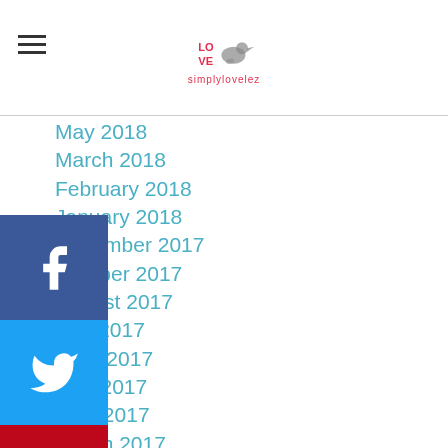simplylovelez (logo)
May 2018
March 2018
February 2018
January 2018
December 2017
October 2017
August 2017
July 2017
June 2017
May 2017
April 2017
March 2017
February 2017
January 2017
December 2016
July 2016
June 2016
[Figure (logo): Social media share buttons: Facebook, Twitter, Pinterest]